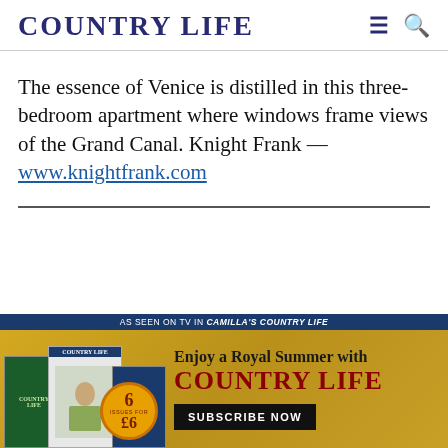COUNTRY LIFE
The essence of Venice is distilled in this three-bedroom apartment where windows frame views of the Grand Canal. Knight Frank — www.knightfrank.com
[Figure (infographic): Country Life magazine subscription advertisement. Gold background with magazine covers on the left, badge showing '6 issues for £6', and text reading 'Enjoy a Royal Summer with COUNTRY LIFE' with a SUBSCRIBE NOW button. Top bar reads 'AS SEEN ON TV IN CAMILLA'S COUNTRY LIFE'.]